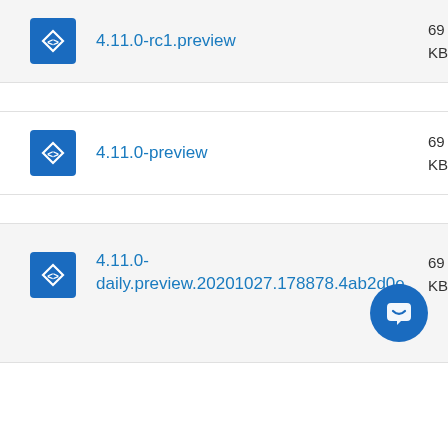4.11.0-rc1.preview
4.11.0-preview
4.11.0-daily.preview.20201027.178878.4ab2d0e